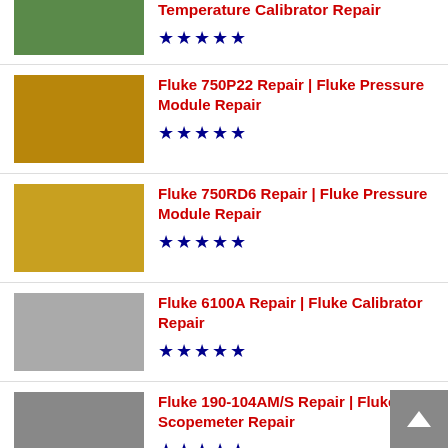Temperature Calibrator Repair ★★★★★
Fluke 750P22 Repair | Fluke Pressure Module Repair ★★★★★
Fluke 750RD6 Repair | Fluke Pressure Module Repair ★★★★★
Fluke 6100A Repair | Fluke Calibrator Repair ★★★★★
Fluke 190-104AM/S Repair | Fluke Scopemeter Repair ★★★★★
Fluke 753 Repair | Fluke Process Calibrator Repair ★★★★★